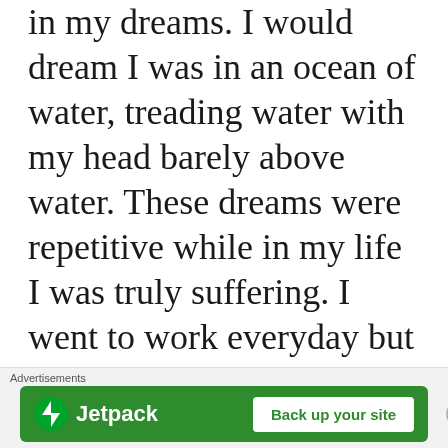in my dreams. I would dream I was in an ocean of water, treading water with my head barely above water. These dreams were repetitive while in my life I was truly suffering. I went to work everyday but could barely take care of my children emotionally. The Bible became my best friend, I really felt it was
Advertisements
[Figure (other): Jetpack advertisement banner with green background, Jetpack logo on left and 'Back up your site' button on right]